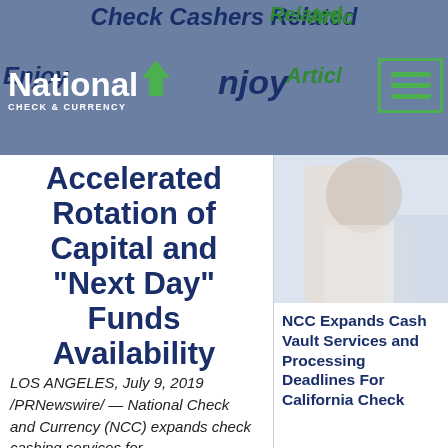Check Cashers Related Articles
[Figure (logo): National Check & Currency logo with green arrow and white text on blue-grey background]
Accelerated Rotation of Capital and “Next Day” Funds Availability
[Figure (photo): Photo of a person in white shirt, cropped, related article thumbnail]
LOS ANGELES, July 9, 2019 /PRNewswire/ — National Check and Currency (NCC) expands check cashing services for
NCC Expands Cash Vault Services and Processing Deadlines For California Check